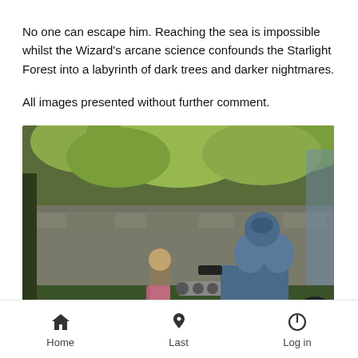No one can escape him.  Reaching the sea is impossible whilst the Wizard's arcane science confounds the Starlight Forest into a labyrinth of dark trees and darker nightmares.

All images presented without further comment.
[Figure (photo): Tabletop wargaming miniatures scene showing two painted figures — a small figure with a large gun on the left and a large armoured blue figure on the right — set against a scenic forest backdrop with large green leaves and stone wall.]
Home   Last   Log in